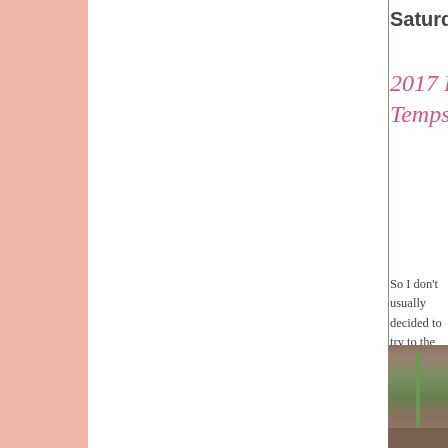Saturday,
2017 Prot... Temps
So I don't usually decided to try to the high, to an ov peonies wouldn't break yesterday a few more bucket well. The big bu of the ground, ar were not up muc
[Figure (photo): A plant stem or seedling emerging from the ground, photographed in a garden setting]